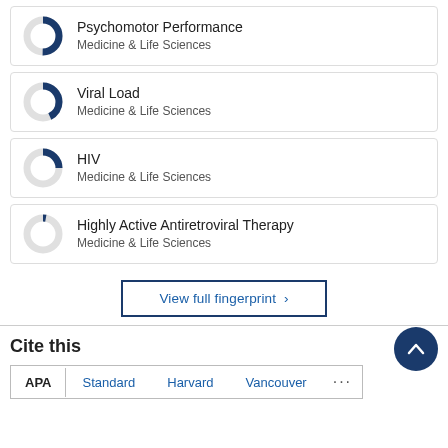[Figure (donut-chart): Donut chart showing partial fill (~75%) in dark blue for Psychomotor Performance, Medicine & Life Sciences]
Psychomotor Performance
Medicine & Life Sciences
[Figure (donut-chart): Donut chart showing partial fill (~70%) in dark blue for Viral Load, Medicine & Life Sciences]
Viral Load
Medicine & Life Sciences
[Figure (donut-chart): Donut chart showing partial fill (~50%) in dark blue for HIV, Medicine & Life Sciences]
HIV
Medicine & Life Sciences
[Figure (donut-chart): Donut chart showing partial fill (~30%) in dark blue for Highly Active Antiretroviral Therapy, Medicine & Life Sciences]
Highly Active Antiretroviral Therapy
Medicine & Life Sciences
View full fingerprint >
Cite this
APA   Standard   Harvard   Vancouver   ...